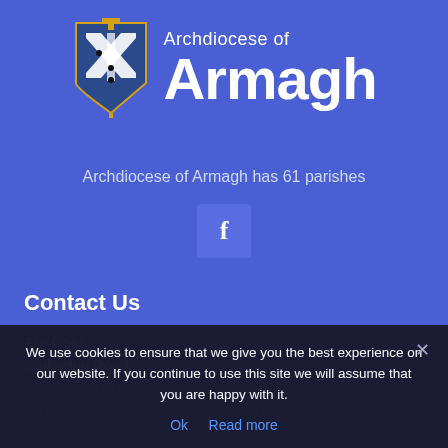[Figure (logo): Archdiocese of Armagh coat of arms shield logo with gold cross on top, blue shield with white and gold decorations]
Archdiocese of Armagh
Archdiocese of Armagh has 61 parishes
[Figure (logo): Facebook social media icon button - letter f on blue background]
Contact Us
Ara Coeli
Cathedral Road
ARMAGH BT61 7QY
Tel (028) 3752 2045 Fax (028) 3751 6182
Email: admin@aracoeli.com
We use cookies to ensure that we give you the best experience on our website. If you continue to use this site we will assume that you are happy with it.
Ok  Read more